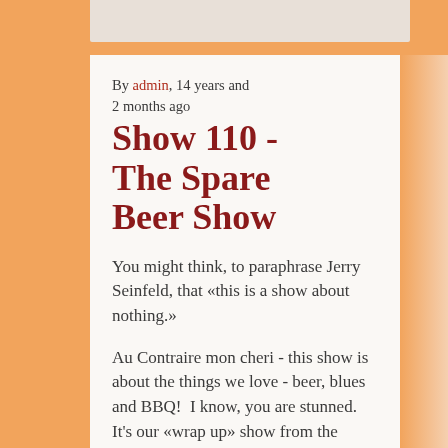By admin, 14 years and 2 months ago
Show 110 - The Spare Beer Show
You might think, to paraphrase Jerry Seinfeld, that «this is a show about nothing.»
Au Contraire mon cheri - this show is about the things we love - beer, blues and BBQ!  I know, you are stunned. It's our «wrap up» show from the Memphis in May Back Street Music